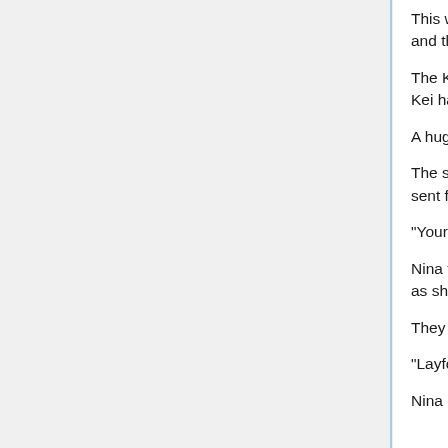This was a move where the user filled an area with Kei and then condensed it into a blade.
The Kei that engulfed the giants was the sword that this Kei had become.
A huge sword as large as these giants.
The sword pierced through the giants' torsos. They were sent flying in strange postures.
"Your Kei power is as crazy as always."
Nina felt stunned at the crude way they were sent flying as she looked at the ones who jumped out from the rift.
They appeared riding a beast wrapped in green flame.
"Layfon! Felli!"
Nina called out.